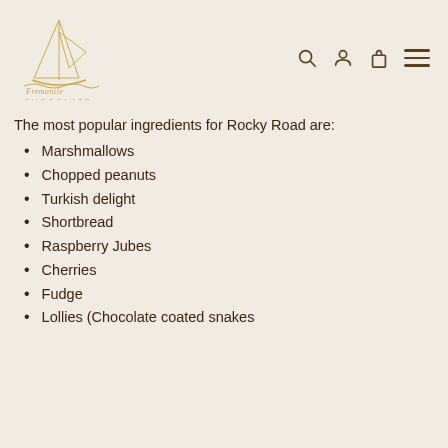[Figure (logo): Fremantle Chocolate logo with sailboat illustration and cursive/uppercase text]
The most popular ingredients for Rocky Road are:
Marshmallows
Chopped peanuts
Turkish delight
Shortbread
Raspberry Jubes
Cherries
Fudge
Lollies (Chocolate coated snakes